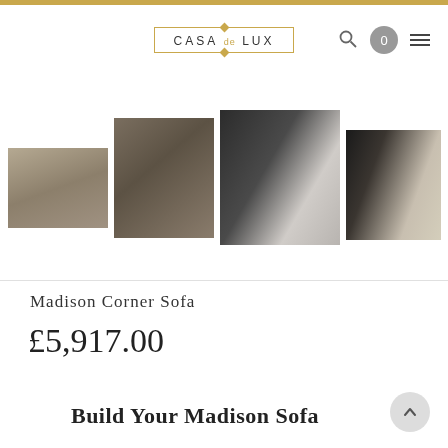[Figure (logo): Casa de Lux logo in a rectangular border with diamond decorations top and bottom]
[Figure (photo): Product gallery showing four images of the Madison Corner Sofa: full sofa in taupe, arm close-up in dark taupe, white sofa with dark background, white sofa in room setting]
Madison Corner Sofa
£5,917.00
Build Your Madison Sofa